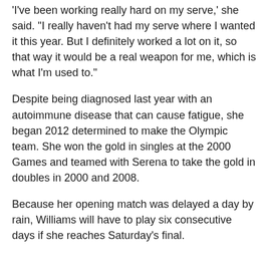'I've been working really hard on my serve,' she said. "I really haven't had my serve where I wanted it this year. But I definitely worked a lot on it, so that way it would be a real weapon for me, which is what I'm used to."
Despite being diagnosed last year with an autoimmune disease that can cause fatigue, she began 2012 determined to make the Olympic team. She won the gold in singles at the 2000 Games and teamed with Serena to take the gold in doubles in 2000 and 2008.
Because her opening match was delayed a day by rain, Williams will have to play six consecutive days if she reaches Saturday's final.